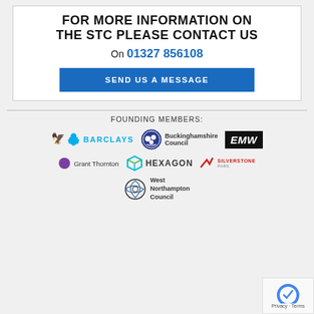FOR MORE INFORMATION ON THE STC PLEASE CONTACT US
On 01327 856108
SEND US A MESSAGE
FOUNDING MEMBERS:
[Figure (logo): Barclays logo - blue eagle icon with BARCLAYS text in blue]
[Figure (logo): Buckinghamshire Council logo - circular council badge with name]
[Figure (logo): EMW logo - white text on black background]
[Figure (logo): Grant Thornton logo - purple circle icon with Grant Thornton text]
[Figure (logo): Hexagon logo - geometric hexagon shape with HEXAGON text]
[Figure (logo): Silverstone Park logo - stylized checkmark with SILVERSTONEPARK text]
[Figure (logo): West Northampton Council logo - circular badge with name]